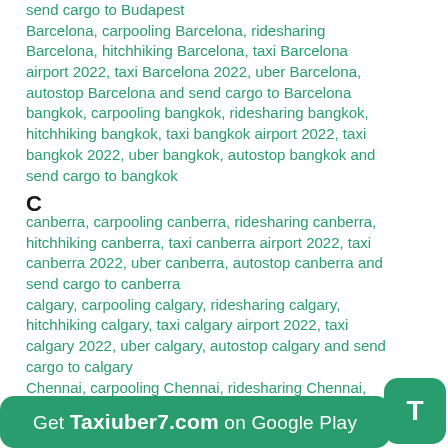send cargo to Budapest Barcelona, carpooling Barcelona, ridesharing Barcelona, hitchhiking Barcelona, taxi Barcelona airport 2022, taxi Barcelona 2022, uber Barcelona, autostop Barcelona and send cargo to Barcelona bangkok, carpooling bangkok, ridesharing bangkok, hitchhiking bangkok, taxi bangkok airport 2022, taxi bangkok 2022, uber bangkok, autostop bangkok and send cargo to bangkok
C
canberra, carpooling canberra, ridesharing canberra, hitchhiking canberra, taxi canberra airport 2022, taxi canberra 2022, uber canberra, autostop canberra and send cargo to canberra calgary, carpooling calgary, ridesharing calgary, hitchhiking calgary, taxi calgary airport 2022, taxi calgary 2022, uber calgary, autostop calgary and send cargo to calgary Chennai, carpooling Chennai, ridesharing Chennai, hitchhiking Chennai, taxi Chennai airport 2022, taxi Chennai 2022, uber Chennai, autostop Chennai and send cargo to Chennai Chisinau, carpooling Chisinau, ridesharing Chisinau, hitchhiking Chisinau, taxi Chisinau airport 2022, taxi
Get Taxiuber7.com on Google Play